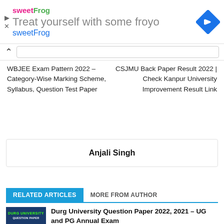[Figure (screenshot): sweetFrog advertisement banner with logo, text 'Treat yourself with some froyo sweetFrog', and a blue diamond directional icon]
WBJEE Exam Pattern 2022 – Category-Wise Marking Scheme, Syllabus, Question Test Paper
CSJMU Back Paper Result 2022 | Check Kanpur University Improvement Result Link
Anjali Singh
RELATED ARTICLES
MORE FROM AUTHOR
Durg University Question Paper 2022, 2021 – UG and PG Annual Exam